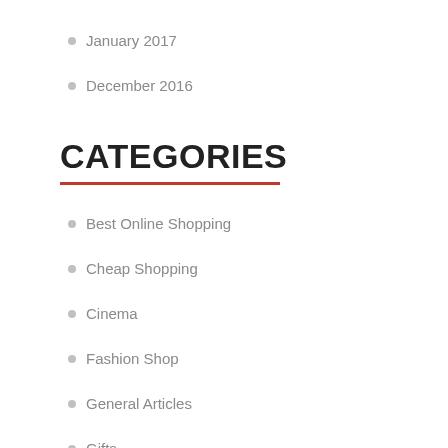January 2017
December 2016
CATEGORIES
Best Online Shopping
Cheap Shopping
Cinema
Fashion Shop
General Articles
Gifts
Home Shopping
Local Shopping